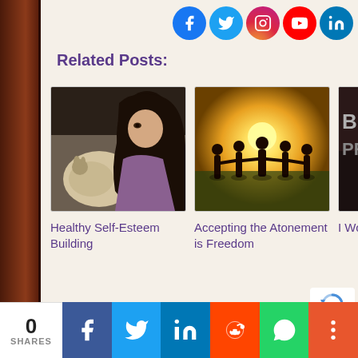[Figure (other): Dark brown leather strip on the left side of the page]
[Figure (other): Social media icons row: Facebook, Twitter, Instagram, YouTube, LinkedIn]
Related Posts:
[Figure (photo): Woman with dark hair and a cat in a car]
Healthy Self-Esteem Building
[Figure (photo): Silhouettes of people holding hands in a field at sunset]
Accepting the Atonement is Freedom
[Figure (photo): Partially visible image with text BLESS overlaid]
I Won't Gi
0 SHARES | Facebook | Twitter | LinkedIn | Reddit | WhatsApp | More